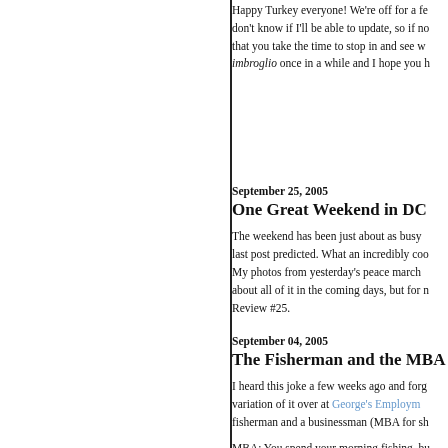Happy Turkey everyone! We're off for a few days. I don't know if I'll be able to update, so if not I hope that you take the time to stop in and see what's on imbroglio once in a while and I hope you h
September 25, 2005
One Great Weekend in DC
The weekend has been just about as busy as my last post predicted. What an incredibly cool time. My photos from yesterday's peace march are up. I'll about all of it in the coming days, but for now, Review #25.
September 04, 2005
The Fisherman and the MBA
I heard this joke a few weeks ago and forgot it. A variation of it over at George's Employment fisherman and a businessman (MBA for sh
MBA: You spend your morning fishing, bu